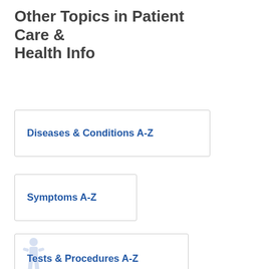Other Topics in Patient Care & Health Info
Diseases & Conditions A-Z
Symptoms A-Z
Tests & Procedures A-Z
Drugs & Supplements A-Z